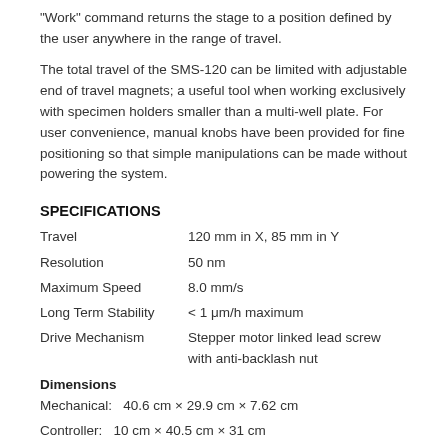“Work” command returns the stage to a position defined by the user anywhere in the range of travel.
The total travel of the SMS-120 can be limited with adjustable end of travel magnets; a useful tool when working exclusively with specimen holders smaller than a multi-well plate. For user convenience, manual knobs have been provided for fine positioning so that simple manipulations can be made without powering the system.
SPECIFICATIONS
Travel    120 mm in X,  85 mm in Y
Resolution    50 nm
Maximum Speed    8.0 mm/s
Long Term Stability    < 1 μm/h maximum
Drive Mechanism    Stepper motor linked lead screw with anti-backlash nut
Dimensions
Mechanical:   40.6 cm × 29.9 cm × 7.62 cm
Controller:   10 cm × 40.5 cm × 31 cm